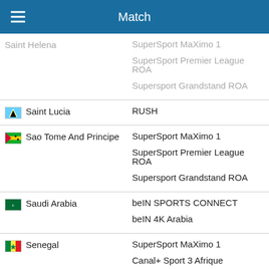Match
| Country | Channels |
| --- | --- |
| Saint Helena | SuperSport MaXimo 1
SuperSport Premier League ROA
Supersport Grandstand ROA |
| Saint Lucia | RUSH |
| Sao Tome And Principe | SuperSport MaXimo 1
SuperSport Premier League ROA
Supersport Grandstand ROA |
| Saudi Arabia | beIN SPORTS CONNECT
beIN 4K Arabia |
| Senegal | SuperSport MaXimo 1
Canal+ Sport 3 Afrique
DStv Now
SuperSport Premier League ROA
Supersport Grandstand ROA |